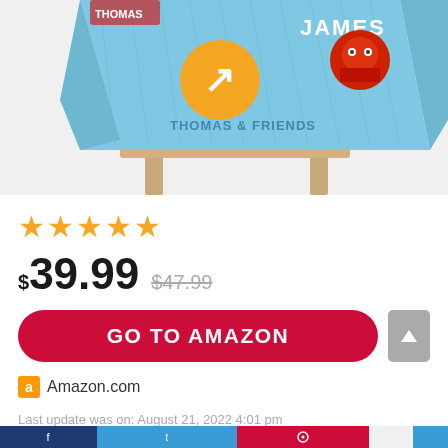[Figure (photo): Product image of a children's bed with a light blue Thomas & Friends themed comforter/blanket featuring Thomas the Tank Engine characters including James, on a wooden bed frame]
★★★★★
$39.99  $47.99
GO TO AMAZON
Amazon.com
Last update was on: August 21, 2022 4:01 pm